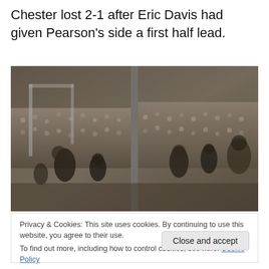Chester lost 2-1 after Eric Davis had given Pearson's side a first half lead.
[Figure (photo): Black and white photograph of a football (soccer) match scene with players and a large crowd in the background, appears to be two side-by-side images or a wide panoramic shot.]
Privacy & Cookies: This site uses cookies. By continuing to use this website, you agree to their use.
To find out more, including how to control cookies, see here: Cookie Policy
Close and accept